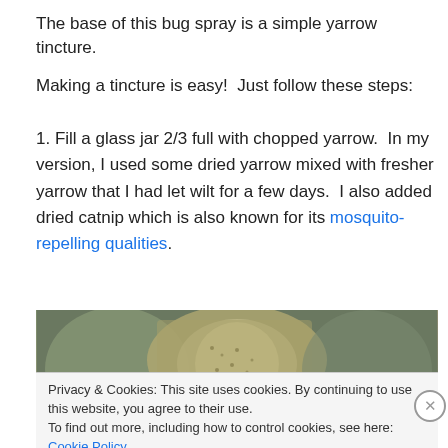The base of this bug spray is a simple yarrow tincture.
Making a tincture is easy!  Just follow these steps:
1. Fill a glass jar 2/3 full with chopped yarrow.  In my version, I used some dried yarrow mixed with fresher yarrow that I had let wilt for a few days.  I also added dried catnip which is also known for its mosquito-repelling qualities.
[Figure (photo): Close-up photo of chopped dried yarrow and herbs in a glass jar]
Privacy & Cookies: This site uses cookies. By continuing to use this website, you agree to their use.
To find out more, including how to control cookies, see here: Cookie Policy